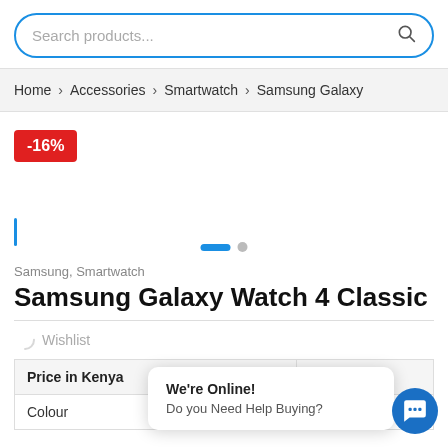[Figure (screenshot): Search bar with placeholder text 'Search products...' and a search icon, with blue border]
Home > Accessories > Smartwatch > Samsung Galaxy
-16%
Samsung, Smartwatch
Samsung Galaxy Watch 4 Classic
Add to Wishlist
| Price in Kenya |  |
| --- | --- |
| Colour | Black |
We're Online!
Do you Need Help Buying?